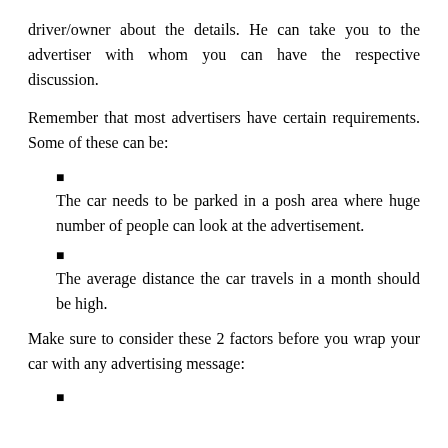driver/owner about the details. He can take you to the advertiser with whom you can have the respective discussion.
Remember that most advertisers have certain requirements. Some of these can be:
The car needs to be parked in a posh area where huge number of people can look at the advertisement.
The average distance the car travels in a month should be high.
Make sure to consider these 2 factors before you wrap your car with any advertising message: